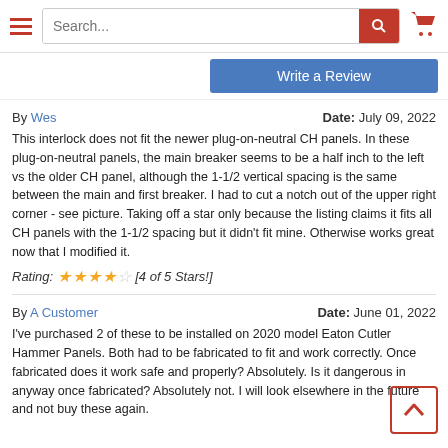Search... [search bar with hamburger menu and cart icon]
Write a Review
By Wes	Date: July 09, 2022
This interlock does not fit the newer plug-on-neutral CH panels. In these plug-on-neutral panels, the main breaker seems to be a half inch to the left vs the older CH panel, although the 1-1/2 vertical spacing is the same between the main and first breaker. I had to cut a notch out of the upper right corner - see picture. Taking off a star only because the listing claims it fits all CH panels with the 1-1/2 spacing but it didn’t fit mine. Otherwise works great now that I modified it.
Rating: [4 of 5 Stars!]
By A Customer	Date: June 01, 2022
I’ve purchased 2 of these to be installed on 2020 model Eaton Cutler Hammer Panels. Both had to be fabricated to fit and work correctly. Once fabricated does it work safe and properly? Absolutely. Is it dangerous in anyway once fabricated? Absolutely not. I will look elsewhere in the future and not buy these again.